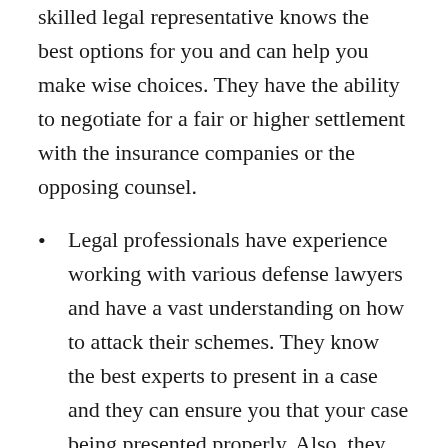skilled legal representative knows the best options for you and can help you make wise choices. They have the ability to negotiate for a fair or higher settlement with the insurance companies or the opposing counsel.
Legal professionals have experience working with various defense lawyers and have a vast understanding on how to attack their schemes. They know the best experts to present in a case and they can ensure you that your case being presented properly. Also, they know a number of expert witnesses or private detectives Ultimately, lawyers have developed relationships with the court personnel such as the judges, clerks, prosecutors,